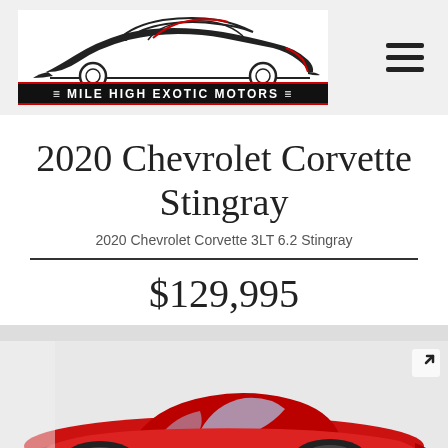[Figure (logo): Mile High Exotic Motors logo — sports car silhouette outline in black and red with 'MILE HIGH EXOTIC MOTORS' text on a dark banner below]
2020 Chevrolet Corvette Stingray
2020 Chevrolet Corvette 3LT 6.2 Stingray
$129,995
[Figure (photo): Red 2020 Chevrolet Corvette Stingray photographed in a white studio/showroom setting, front 3/4 view. A 'TEXT US' overlay button appears in the bottom-right corner.]